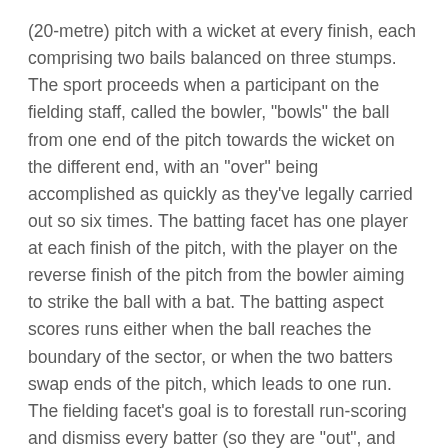(20-metre) pitch with a wicket at every finish, each comprising two bails balanced on three stumps. The sport proceeds when a participant on the fielding staff, called the bowler, "bowls" the ball from one end of the pitch towards the wicket on the different end, with an "over" being accomplished as quickly as they've legally carried out so six times. The batting facet has one player at each finish of the pitch, with the player on the reverse finish of the pitch from the bowler aiming to strike the ball with a bat. The batting aspect scores runs either when the ball reaches the boundary of the sector, or when the two batters swap ends of the pitch, which leads to one run. The fielding facet's goal is to forestall run-scoring and dismiss every batter (so they are "out", and are said to have "lost their wicket"). When ten batters have been dismissed, the innings ends and the teams swap roles.
Rohit Sharma, who was appointed as India's white-ball captain a couple of months again, has been named as the full-time captain within the red-ball format as nicely. Penkridge Cricket